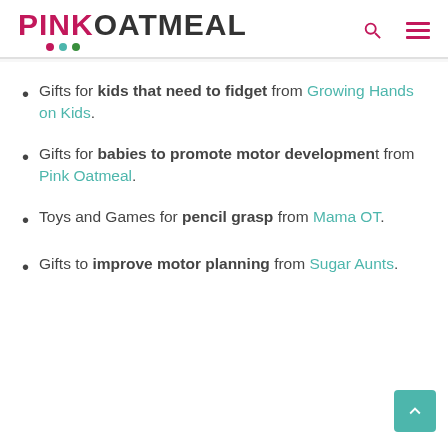PINK OATMEAL
Gifts for kids that need to fidget from Growing Hands on Kids.
Gifts for babies to promote motor development from Pink Oatmeal.
Toys and Games for pencil grasp from Mama OT.
Gifts to improve motor planning from Sugar Aunts.